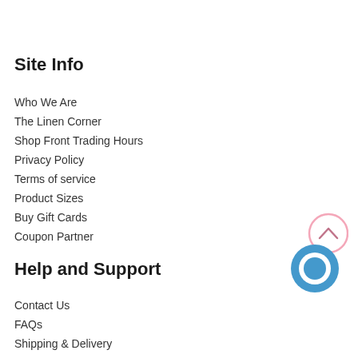Site Info
Who We Are
The Linen Corner
Shop Front Trading Hours
Privacy Policy
Terms of service
Product Sizes
Buy Gift Cards
Coupon Partner
Help and Support
Contact Us
FAQs
Shipping & Delivery
Returns
Covid Safe Policy
[Figure (other): Scroll-to-top circular button with upward chevron, pink/light outline style, and a blue chat bubble button overlapping it]